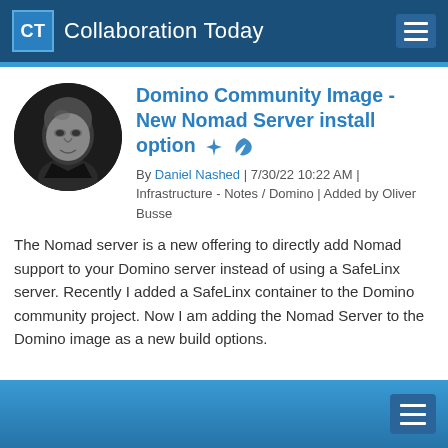CT Collaboration Today
Domino Community Image - New Nomad Server install option
By Daniel Nashed | 7/30/22 10:22 AM | Infrastructure - Notes / Domino | Added by Oliver Busse
The Nomad server is a new offering to directly add Nomad support to your Domino server instead of using a SafeLinx server. Recently I added a SafeLinx container to the Domino community project. Now I am adding the Nomad Server to the Domino image as a new build options.
[Figure (photo): Circular black and white headshot of Daniel Nashed, a bald man smiling slightly, wearing a dark shirt.]